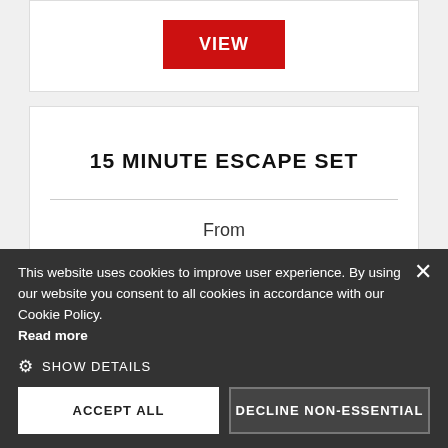[Figure (other): Red VIEW button on white card at top]
15 MINUTE ESCAPE SET
From
£25.99
This website uses cookies to improve user experience. By using our website you consent to all cookies in accordance with our Cookie Policy. Read more
SHOW DETAILS
ACCEPT ALL
DECLINE NON-ESSENTIAL